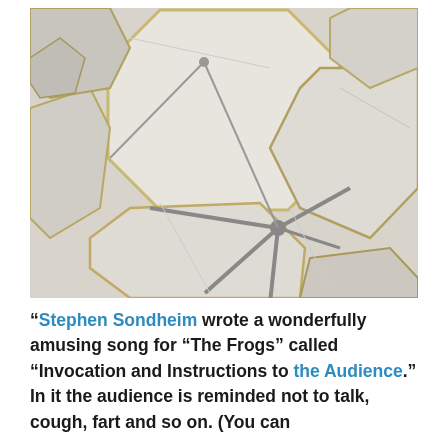[Figure (photo): Overhead view of a large structure with multiple octagonal panels or cells arranged in a honeycomb-like pattern, with golden/metallic framing and gray structural supports visible from below. The panels appear to be translucent or white fabric/material.]
“Stephen Sondheim wrote a wonderfully amusing song for “The Frogs” called “Invocation and Instructions to the Audience.” In it the audience is reminded not to talk, cough, fart and so on. (You can